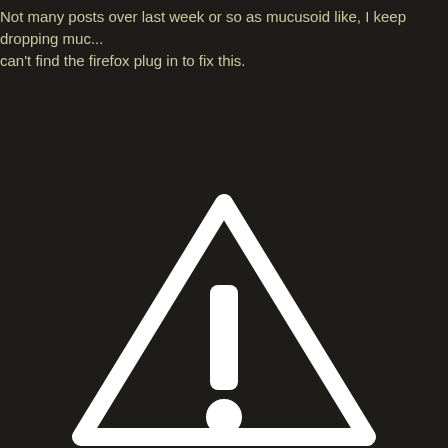Not many posts over last week or so as mucusoid like, I keep dropping muc... can't find the firefox plug in to fix this.
[Figure (illustration): A warning/caution triangle symbol with an exclamation mark inside, rendered in white outline on a dark background. The triangle has a thick white border and a white exclamation mark (bar and dot) centered within it.]